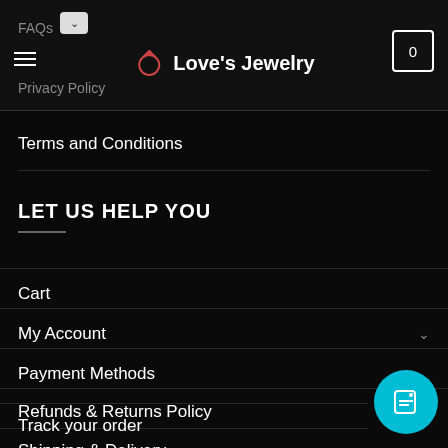Love's Jewelry
FAQs
Privacy Policy
Terms and Conditions
LET US HELP YOU
Cart
My Account
Payment Methods
Refunds & Returns Policy
Shipping & Delivery
Track your order